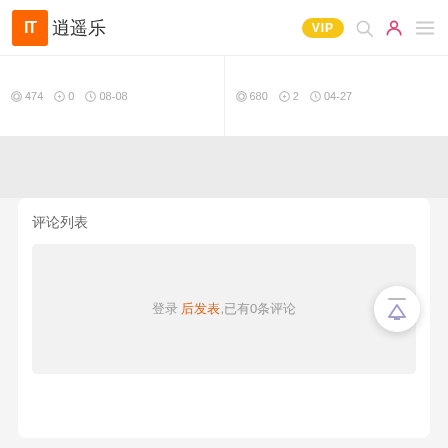IT逍遥乐 VIP
474 0 08-08 | 680 2 04-27
评论列表
登录 后发表,已有0条评论